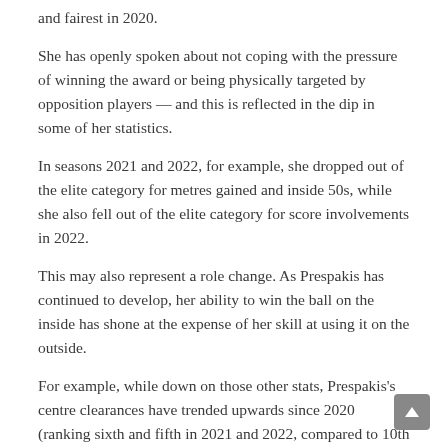and fairest in 2020.
She has openly spoken about not coping with the pressure of winning the award or being physically targeted by opposition players — and this is reflected in the dip in some of her statistics.
In seasons 2021 and 2022, for example, she dropped out of the elite category for metres gained and inside 50s, while she also fell out of the elite category for score involvements in 2022.
This may also represent a role change. As Prespakis has continued to develop, her ability to win the ball on the inside has shone at the expense of her skill at using it on the outside.
For example, while down on those other stats, Prespakis's centre clearances have trended upwards since 2020 (ranking sixth and fifth in 2021 and 2022, compared to 10th and 27th in 2019 and 2020).
Winning possession of the football is still at the heart of winning games, and Prespakis will give the Dons an opportunity to get the ball from day one.